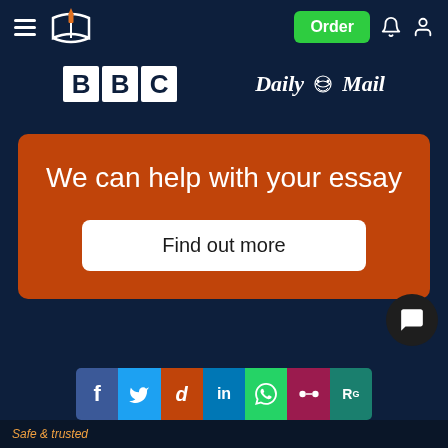[Figure (screenshot): Navigation bar with hamburger menu, pen-and-book logo, Order button in green, bell icon, and user icon on dark navy background]
[Figure (logo): BBC logo in white boxes and Daily Mail logo in white serif italic text on dark navy background]
We can help with your essay
Find out more
[Figure (infographic): Social sharing bar with Facebook, Twitter, Reddit, LinkedIn, WhatsApp, Mendeley, and ResearchGate buttons]
Safe & trusted